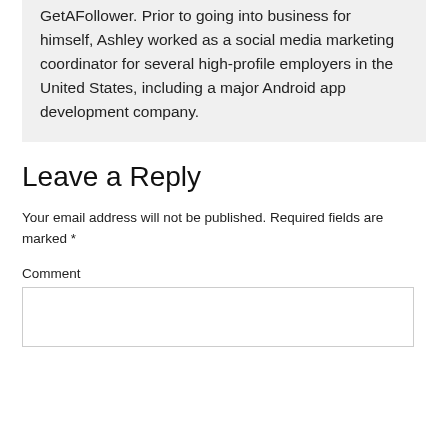GetAFollower. Prior to going into business for himself, Ashley worked as a social media marketing coordinator for several high-profile employers in the United States, including a major Android app development company.
Leave a Reply
Your email address will not be published. Required fields are marked *
Comment